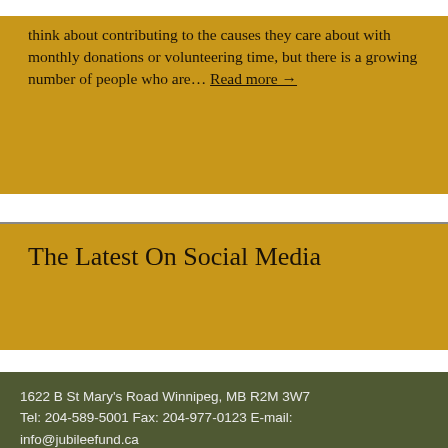think about contributing to the causes they care about with monthly donations or volunteering time, but there is a growing number of people who are… Read more →
The Latest On Social Media
1622 B St Mary's Road Winnipeg, MB R2M 3W7 Tel: 204-589-5001 Fax: 204-977-0123 E-mail: info@jubileefund.ca